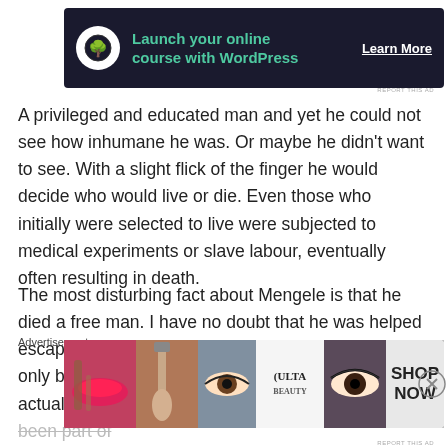[Figure (screenshot): Dark advertisement banner: 'Launch your online course with WordPress' with tree icon and 'Learn More' link]
REPORT THIS AD
A privileged and educated man and yet he could not see how inhumane he was. Or maybe he didn't want to see. With a slight flick of the finger he would decide who would live or die. Even those who initially were selected to live were subjected to medical experiments or slave labour, eventually often resulting in death.
The most disturbing fact about Mengele is that he died a free man. I have no doubt that he was helped escape Germany after the war and not necessarily only by fellow Nazis. It would not surprise me if he actual had surrendered to the allies, he would have been part of
Advertisements
[Figure (screenshot): ULTA beauty advertisement banner with makeup images and 'SHOP NOW' button]